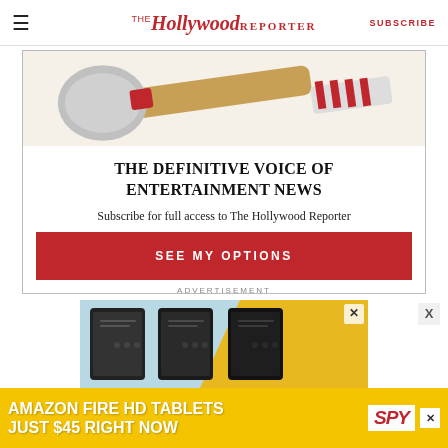The Hollywood Reporter — SUBSCRIBE
[Figure (illustration): Illustration of an axe with a wooden handle and striped fabric or ribbon, on a cream/beige background — partial view (top portion cut off)]
THE DEFINITIVE VOICE OF ENTERTAINMENT NEWS
Subscribe for full access to The Hollywood Reporter
SEE MY OPTIONS
ADVERTISEMENT
[Figure (photo): Advertisement banner showing Amazon Fire HD Tablets with speaker/tablet product images on a light blue and yellow background, with AMAZON FIRE HD TABLETS JUST $45 RIGHT NOW text and SPY logo]
AMAZON FIRE HD TABLETS JUST $45 RIGHT NOW